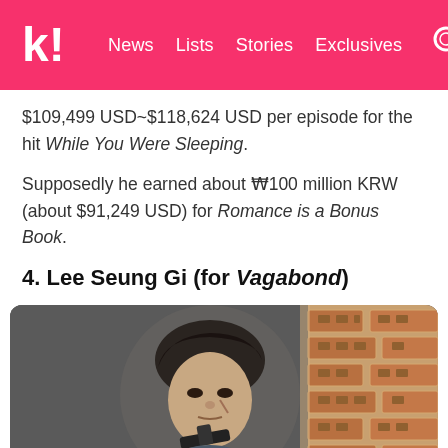Koreaboo — News | Lists | Stories | Exclusives
$109,499 USD~$118,624 USD per episode for the hit While You Were Sleeping.
Supposedly he earned about ₩100 million KRW (about $91,249 USD) for Romance is a Bonus Book.
4. Lee Seung Gi (for Vagabond)
[Figure (photo): Lee Seung Gi holding a gun, peering around a brick wall in a scene from Vagabond]